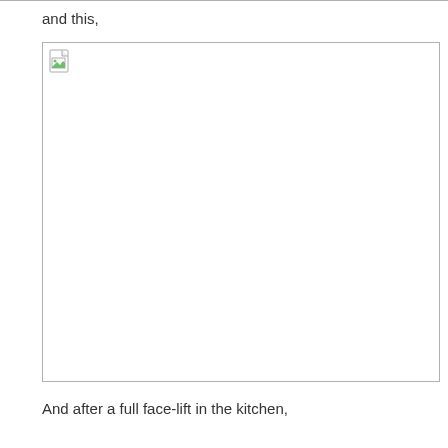and this,
[Figure (photo): A broken/missing image placeholder shown as a bordered white rectangle with a small broken image icon in the top-left corner.]
And after a full face-lift in the kitchen,